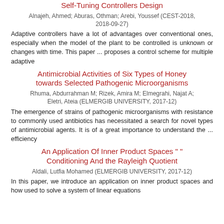Self-Tuning Controllers Design
Alnajeh, Ahmed; Aburas, Othman; Arebi, Youssef (CEST-2018, 2018-09-27)
Adaptive controllers have a lot of advantages over conventional ones, especially when the model of the plant to be controlled is unknown or changes with time. This paper ... proposes a control scheme for multiple adaptive
Antimicrobial Activities of Six Types of Honey towards Selected Pathogenic Microorganisms
Rhuma, Abdurrahman M; Rizek, Amira M; Elmegrahi, Najat A; Eletri, Ateia (ELMERGIB UNIVERSITY, 2017-12)
The emergence of strains of pathogenic microorganisms with resistance to commonly used antibiotics has necessitated a search for novel types of antimicrobial agents. It is of a great importance to understand the ... efficiency
An Application Of Inner Product Spaces " " Conditioning And the Rayleigh Quotient
Aldali, Lutfia Mohamed (ELMERGIB UNIVERSITY, 2017-12)
In this paper, we introduce an application on inner product spaces and how used to solve a system of linear equations